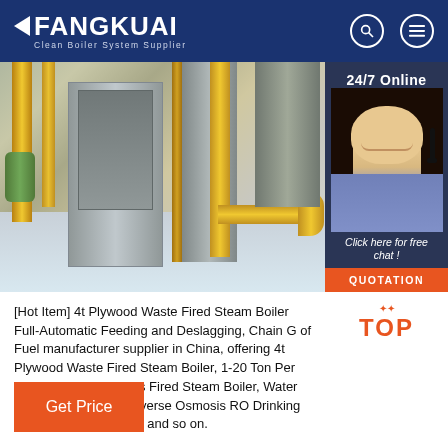FANGKUAI - Clean Boiler System Supplier
[Figure (photo): Industrial boiler room with yellow pipes and machinery, and a 24/7 online customer service widget with a smiling woman wearing a headset]
[Hot Item] 4t Plywood Waste Fired Steam Boiler Full-Automatic Feeding and Deslagging, Chain G of Fuel manufacturer supplier in China, offering 4t Plywood Waste Fired Steam Boiler, 1-20 Ton Per Hour Industrial Oil Gas Fired Steam Boiler, Water Treatment System/Reverse Osmosis RO Drinking Water Treatment Plant and so on.
Get Price